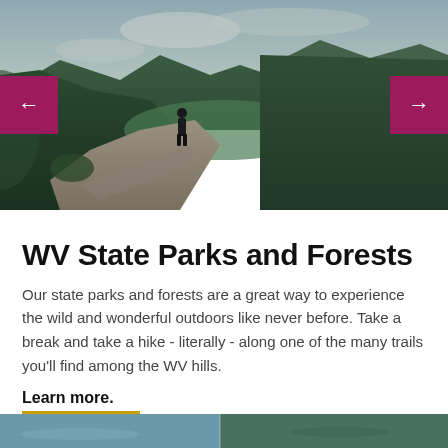[Figure (photo): Person standing on a rocky cliff overlooking a vast green forested valley with mountains in the background under a cloudy sky. Navigation arrows (left and right) in magenta/pink boxes are overlaid on the photo.]
WV State Parks and Forests
Our state parks and forests are a great way to experience the wild and wonderful outdoors like never before. Take a break and take a hike - literally - along one of the many trails you'll find among the WV hills.
Learn more.
[Figure (photo): Partial view of another photo at the very bottom of the page — a nature/outdoor scene, partially cropped.]